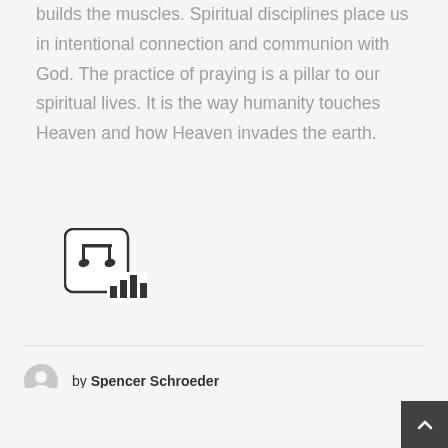builds the muscles. Spiritual disciplines place us in intentional connection and communion with God. The practice of praying is a pillar to our spiritual lives. It is the way humanity touches Heaven and how Heaven invades the earth.
[Figure (other): A music/audio icon showing musical notes inside a rounded square, with a small bar chart icon overlapping the bottom-right corner]
by Spencer Schroeder